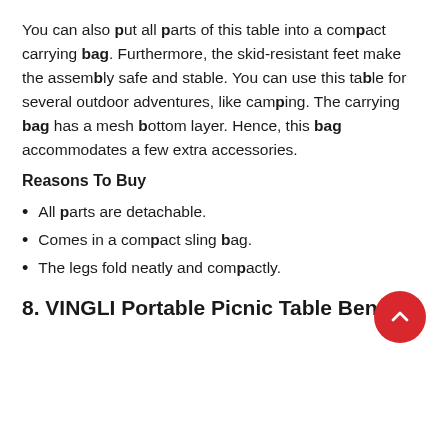You can also put all parts of this table into a compact carrying bag. Furthermore, the skid-resistant feet make the assembly safe and stable. You can use this table for several outdoor adventures, like camping. The carrying bag has a mesh bottom layer. Hence, this bag accommodates a few extra accessories.
Reasons To Buy
All parts are detachable.
Comes in a compact sling bag.
The legs fold neatly and compactly.
8. VINGLI Portable Picnic Table Bench